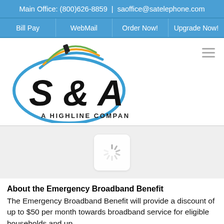Main Office: (800)626-8859 | saoffice@satelephone.com
Bill Pay | WebMail | Order Now! | Upgrade Now!
[Figure (logo): S & A Telephone Company logo — stylized S&A letters with colored arc lines above, text 'A HIGHLINE COMPANY' below]
[Figure (other): Loading spinner icon in a light rounded-rectangle box]
About the Emergency Broadband Benefit
The Emergency Broadband Benefit will provide a discount of up to $50 per month towards broadband service for eligible households and up